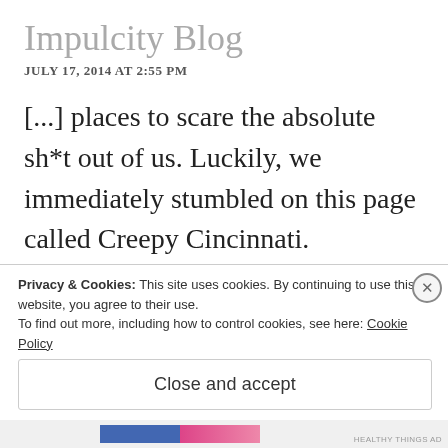Impulcity Blog
JULY 17, 2014 AT 2:55 PM
[...] places to scare the absolute sh*t out of us. Luckily, we immediately stumbled on this page called Creepy Cincinnati. Apparently, this guy named Rick has been keeping his ear to the ground about all of the spookiest [...]
Privacy & Cookies: This site uses cookies. By continuing to use this website, you agree to their use.
To find out more, including how to control cookies, see here: Cookie Policy
Close and accept